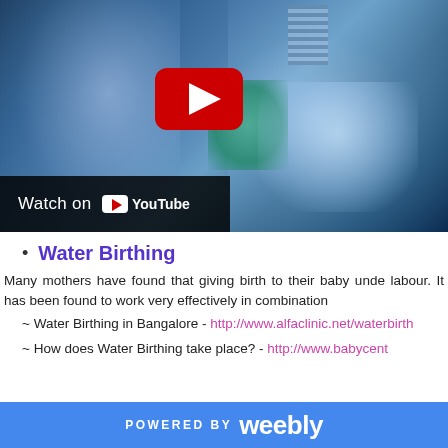[Figure (screenshot): YouTube video thumbnail showing a water birthing scene with blurry figures in blue tones, a red YouTube play button in the center, and a 'Watch on YouTube' bar at the bottom left.]
Water Birthing
Many mothers have found that giving birth to their baby unde... labour. It has been found to work very effectively in combination...
~ Water Birthing in Bangalore - http://www.alfaclinic.net/waterbirth
~ How does Water Birthing take place? - http://www.babycent...
POWERED BY weebly